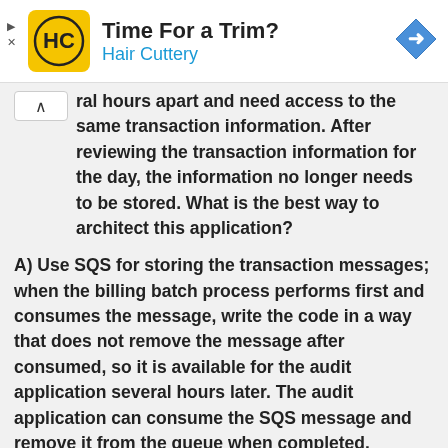[Figure (other): Hair Cuttery advertisement banner with logo, text 'Time For a Trim? Hair Cuttery', and a navigation icon]
ral hours apart and need access to the same transaction information. After reviewing the transaction information for the day, the information no longer needs to be stored. What is the best way to architect this application?
A) Use SQS for storing the transaction messages; when the billing batch process performs first and consumes the message, write the code in a way that does not remove the message after consumed, so it is available for the audit application several hours later. The audit application can consume the SQS message and remove it from the queue when completed.